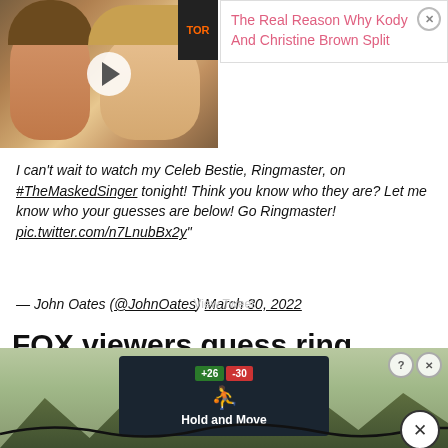[Figure (photo): Couple photo thumbnail with play button overlay, man and woman smiling outdoors]
The Real Reason Why Kody And Christine Brown Split
I can't wait to watch my Celeb Bestie, Ringmaster, on #TheMaskedSinger tonight! Think you know who they are? Let me know who your guesses are below! Go Ringmaster! pic.twitter.com/n7LnubBx2y"
— John Oates (@JohnOates) March 30, 2022
FOX viewers guess ring master's identity
[Figure (screenshot): Bottom advertisement: Hold and Move app with score display, trees background, close and question buttons]